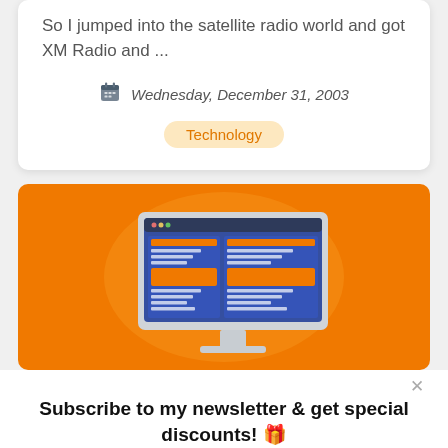So I jumped into the satellite radio world and got XM Radio and ...
Wednesday, December 31, 2003
Technology
[Figure (illustration): Orange banner with illustration of a desktop computer monitor displaying a two-column webpage layout with orange and blue content blocks]
Subscribe to my newsletter & get special discounts! 🎁
Click to learn more